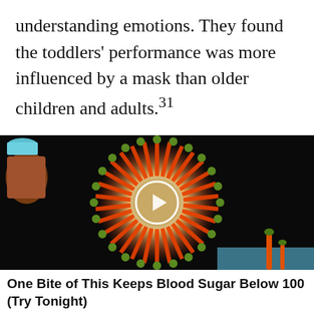understanding emotions. They found the toddlers' performance was more influenced by a mask than older children and adults.31
[Figure (photo): A close-up photo of a colorful flower (likely a gerbera daisy) with bright red/orange petals and green budding tips arranged in a circular pattern, against a dark background. A white circular play button overlay is centered on the image, indicating a video.]
One Bite of This Keeps Blood Sugar Below 100 (Try Tonight)
▲ 2,867